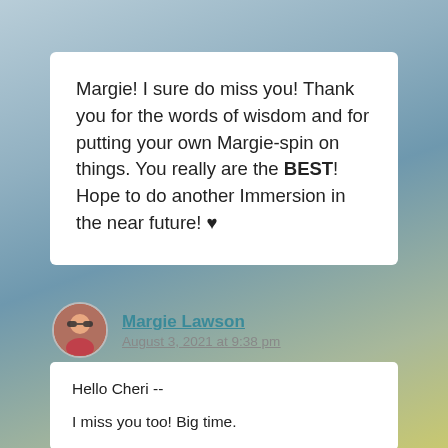Margie! I sure do miss you! Thank you for the words of wisdom and for putting your own Margie-spin on things. You really are the BEST! Hope to do another Immersion in the near future! ♥
Margie Lawson
August 3, 2021 at 9:38 pm
Hello Cheri --

I miss you too! Big time.

I can't wait to work with you in your third